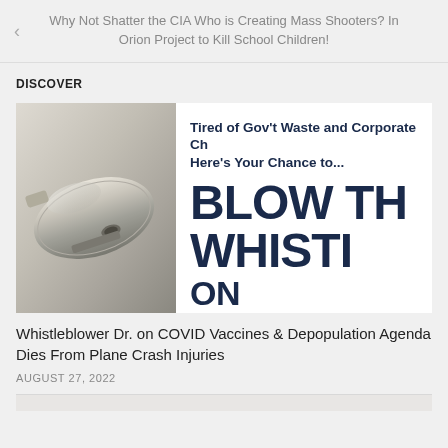Why Not Shatter the CIA Who is Creating Mass Shooters? In Orion Project to Kill School Children!
DISCOVER
[Figure (photo): A metal whistle on the left with bold text on white background reading: Tired of Gov't Waste and Corporate Ch... Here's Your Chance to... BLOW TH WHISTI ON WRONGDO]
Whistleblower Dr. on COVID Vaccines & Depopulation Agenda Dies From Plane Crash Injuries
AUGUST 27, 2022